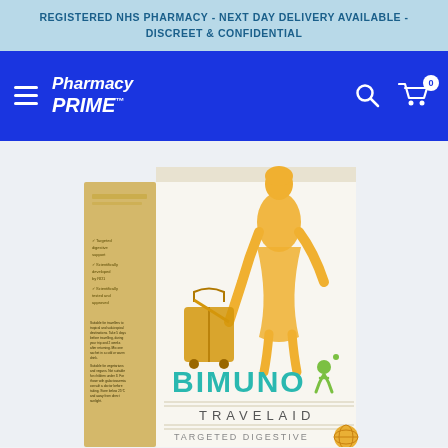REGISTERED NHS PHARMACY - NEXT DAY DELIVERY AVAILABLE - DISCREET & CONFIDENTIAL
[Figure (logo): Pharmacy Prime logo with hamburger menu, search icon, and cart icon on blue navigation bar]
[Figure (photo): Bimuno Travelaid product box showing a yellow silhouette of a person with luggage, the Bimuno logo with a green figure, and text reading TRAVELAID and TARGETED DIGESTIVE NUTRITIONAL]